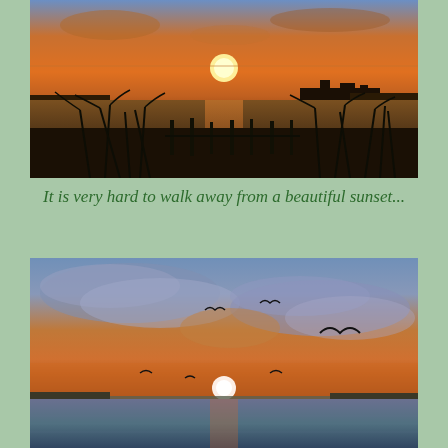[Figure (photo): Sunset over water with silhouettes of tall beach grass and a wooden fence in the foreground, and a large ship visible on the horizon under an orange glowing sky.]
It is very hard to walk away from a beautiful sunset...
[Figure (photo): Sunset over calm water with dramatic clouds lit in orange and purple, seagulls flying in silhouette, and the sun just touching the horizon.]